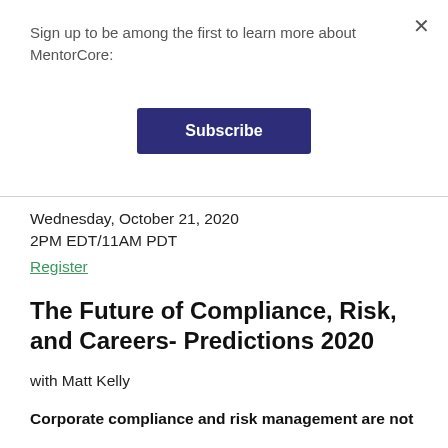Sign up to be among the first to learn more about MentorCore:
Subscribe
Wednesday, October 21, 2020
2PM EDT/11AM PDT
Register
The Future of Compliance, Risk, and Careers- Predictions 2020
with Matt Kelly
Corporate compliance and risk management are not